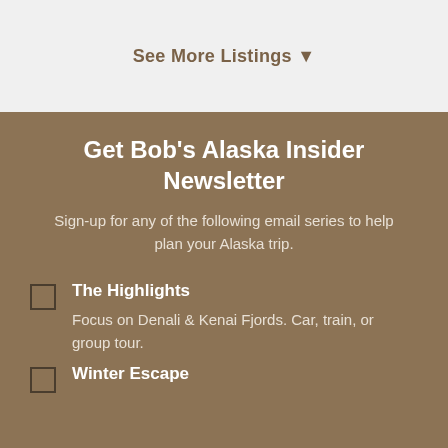See More Listings ▼
Get Bob's Alaska Insider Newsletter
Sign-up for any of the following email series to help plan your Alaska trip.
The Highlights — Focus on Denali & Kenai Fjords. Car, train, or group tour.
Winter Escape